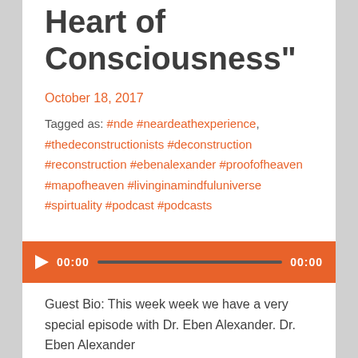Heart of Consciousness”
October 18, 2017
Tagged as: #nde #neardeathexperience, #thedeconstructionists #deconstruction #reconstruction #ebenalexander #proofofheaven #mapofheaven #livinginamindfuluniverse #spirtuality #podcast #podcasts
[Figure (other): Audio player bar with play button, time 00:00, progress bar, and end time 00:00]
Guest Bio: This week week we have a very special episode with Dr. Eben Alexander. Dr. Eben Alexander